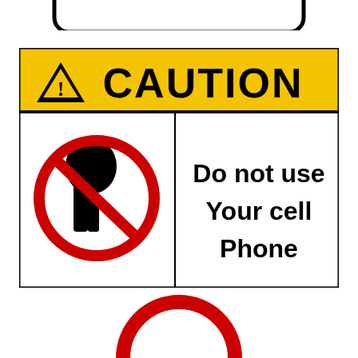[Figure (other): Top portion of a rounded rectangle safety sign label with black border, partially cropped at top of page]
[Figure (infographic): ANSI CAUTION safety sign: yellow header bar with black triangle warning symbol and text CAUTION; below is a white body split into two sections: left has a no-cell-phone prohibition symbol (red circle with diagonal slash over a person using a phone), right has bold black text: Do not use Your cell Phone]
[Figure (other): Bottom portion of a red prohibition circle symbol (no-entry arc), partially cropped at bottom of page]